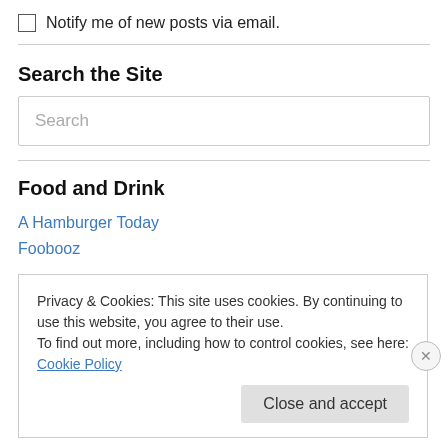Notify me of new posts via email.
Search the Site
Search
Food and Drink
A Hamburger Today
Foobooz
Privacy & Cookies: This site uses cookies. By continuing to use this website, you agree to their use.
To find out more, including how to control cookies, see here: Cookie Policy
Close and accept